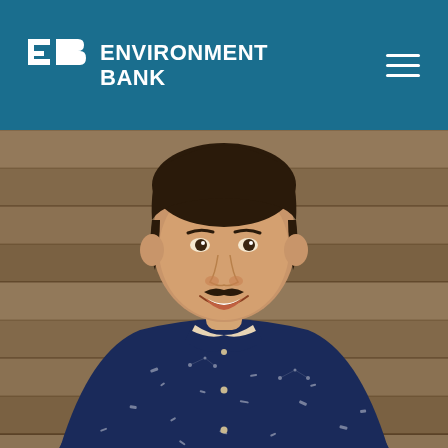[Figure (logo): Environment Bank logo in white on teal/blue header bar, with EB monogram icon and hamburger menu icon on the right]
[Figure (photo): Portrait photo of a smiling young man with short dark hair and a moustache, wearing a navy blue patterned button-up shirt, photographed against a wooden plank background]